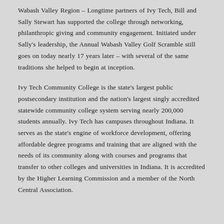Wabash Valley Region – Longtime partners of Ivy Tech, Bill and Sally Stewart has supported the college through networking, philanthropic giving and community engagement. Initiated under Sally's leadership, the Annual Wabash Valley Golf Scramble still goes on today nearly 17 years later – with several of the same traditions she helped to begin at inception.
Ivy Tech Community College is the state's largest public postsecondary institution and the nation's largest singly accredited statewide community college system serving nearly 200,000 students annually. Ivy Tech has campuses throughout Indiana. It serves as the state's engine of workforce development, offering affordable degree programs and training that are aligned with the needs of its community along with courses and programs that transfer to other colleges and universities in Indiana. It is accredited by the Higher Learning Commission and a member of the North Central Association.